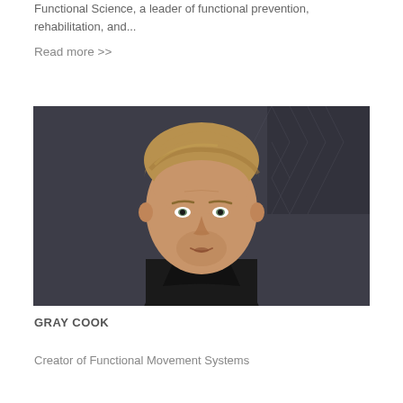Functional Science, a leader of functional prevention, rehabilitation, and...
Read more >>
[Figure (photo): Headshot of Gray Cook, a middle-aged man with blonde hair, light stubble, wearing a black jacket, photographed against a dark background.]
GRAY COOK
Creator of Functional Movement Systems